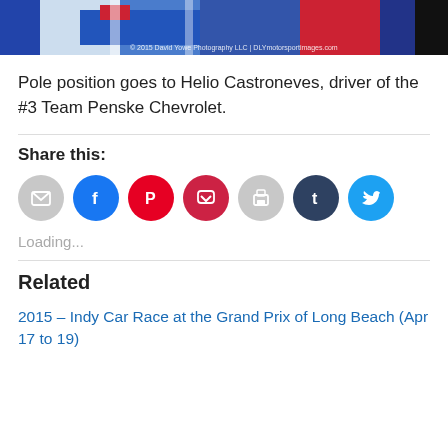[Figure (photo): Partial racing car photo strip with watermark '© 2015 David Yowe Photography LLC | DLYmotorsportimages.com']
Pole position goes to Helio Castroneves, driver of the #3 Team Penske Chevrolet.
Share this:
[Figure (infographic): Row of 7 social share buttons: email (grey), Facebook (blue), Pinterest (red), Pocket (dark red), print (grey), Tumblr (dark navy), Twitter (light blue)]
Loading...
Related
2015 – Indy Car Race at the Grand Prix of Long Beach (Apr 17 to 19)